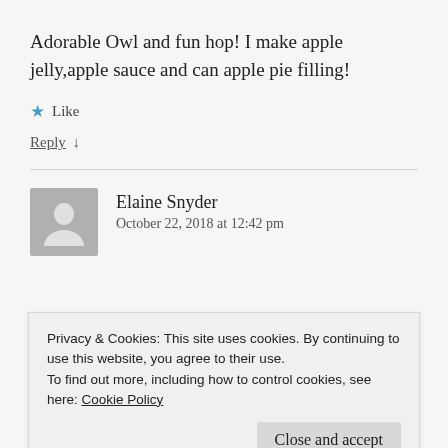Adorable Owl and fun hop! I make apple jelly,apple sauce and can apple pie filling!
★ Like
Reply ↓
Elaine Snyder
October 22, 2018 at 12:42 pm
Privacy & Cookies: This site uses cookies. By continuing to use this website, you agree to their use.
To find out more, including how to control cookies, see here: Cookie Policy
Close and accept
★ Like